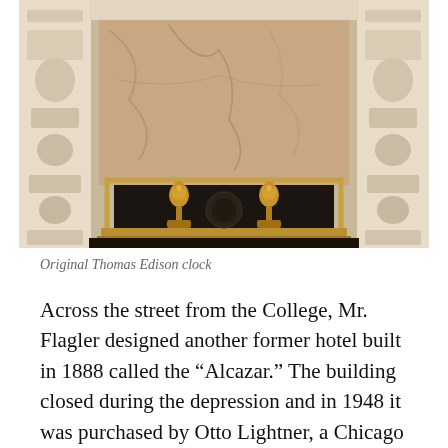[Figure (photo): Photograph of an ornate fireplace with elaborate white carved surround columns on both sides, a marble mantel backdrop with veined pattern, and two large brass andirons with decorative tops standing inside the dark firebox, with a brass fender in front.]
Original Thomas Edison clock
Across the street from the College, Mr. Flagler designed another former hotel built in 1888 called the “Alcazar.” The building closed during the depression and in 1948 it was purchased by Otto Lightner, a Chicago magazine publisher who converted it into a museum for his large collection of fine art. The building also now